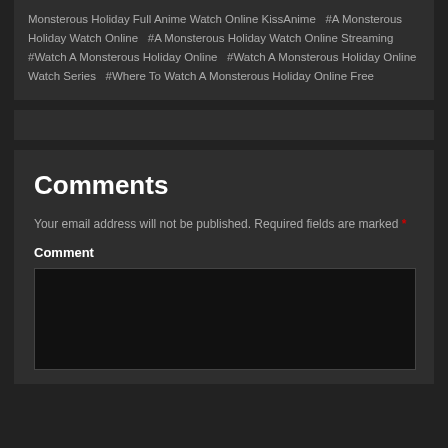Monsterous Holiday Full Anime Watch Online KissAnime   #A Monsterous Holiday Watch Online   #A Monsterous Holiday Watch Online Streaming  #Watch A Monsterous Holiday Online   #Watch A Monsterous Holiday Online Watch Series   #Where To Watch A Monsterous Holiday Online Free
[Figure (other): Empty dark gray bar/banner element]
Comments
Your email address will not be published. Required fields are marked *
Comment